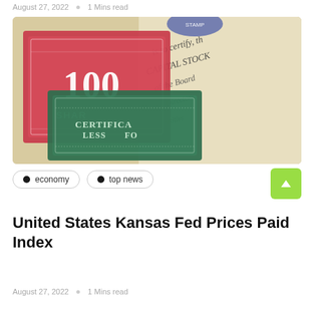August 27, 2022  0  1 Mins read
[Figure (photo): Close-up photograph of vintage stock certificates — a red '100 SHARES' certificate and a green 'CERTIFICATE FOR LESS...' certificate overlapping a handwritten document with cursive text reading 'CAPITAL STOCK' and other script.]
economy
top news
United States Kansas Fed Prices Paid Index
August 27, 2022  0  1 Mins read